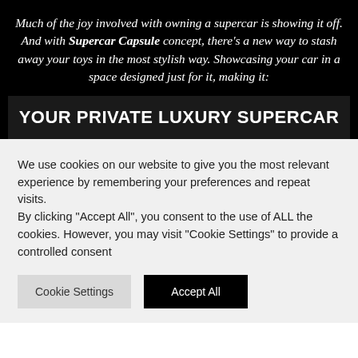Much of the joy involved with owning a supercar is showing it off. And with Supercar Capsule concept, there's a new way to stash away your toys in the most stylish way. Showcasing your car in a space designed just for it, making it:
YOUR PRIVATE LUXURY SUPERCAR
We use cookies on our website to give you the most relevant experience by remembering your preferences and repeat visits.
By clicking "Accept All", you consent to the use of ALL the cookies. However, you may visit "Cookie Settings" to provide a controlled consent